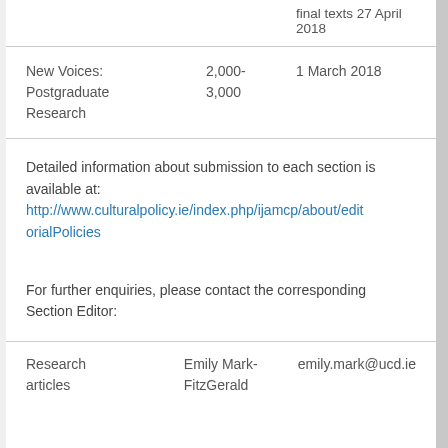|  |  | final texts 27 April 2018 |
| New Voices: Postgraduate Research | 2,000-3,000 | 1 March 2018 |
Detailed information about submission to each section is available at: http://www.culturalpolicy.ie/index.php/ijamcp/about/editorialPolicies
For further enquiries, please contact the corresponding Section Editor:
| Research articles | Emily Mark-FitzGerald | emily.mark@ucd.ie |